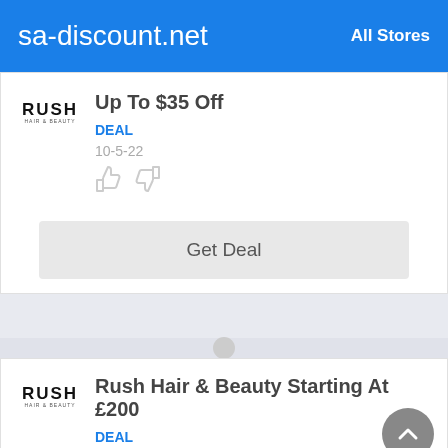sa-discount.net   All Stores
Up To $35 Off
DEAL
10-5-22
Get Deal
Rush Hair & Beauty Starting At £200
DEAL
27-6-22
Get Deal